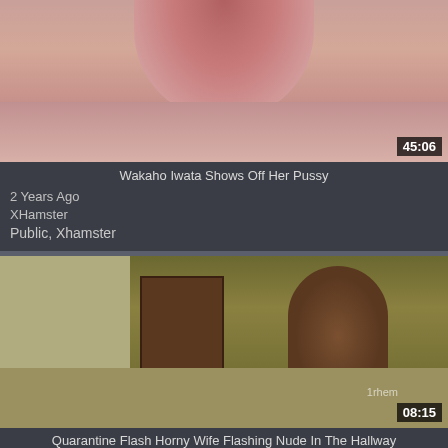[Figure (photo): Close-up flesh-tone thumbnail with duration overlay 45:06]
Wakaho Iwata Shows Off Her Pussy
2 Years Ago
XHamster
Public, Xhamster
[Figure (photo): Hallway scene thumbnail with nude figure, duration overlay 08:15, watermark 1rhem]
Quarantine Flash Horny Wife Flashing Nude In The Hallway
2 Years Ago